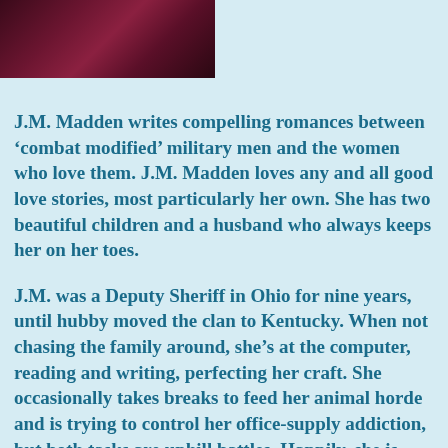[Figure (photo): Partial photo showing a dark red/purple floral or abstract image cropped at top of page]
J.M. Madden writes compelling romances between 'combat modified' military men and the women who love them. J.M. Madden loves any and all good love stories, most particularly her own. She has two beautiful children and a husband who always keeps her on her toes.
J.M. was a Deputy Sheriff in Ohio for nine years, until hubby moved the clan to Kentucky. When not chasing the family around, she’s at the computer, reading and writing, perfecting her craft. She occasionally takes breaks to feed her animal horde and is trying to control her office-supply addiction, but both tasks are uphill battles. Happily, she is writing full-time and always has a new project in the works.